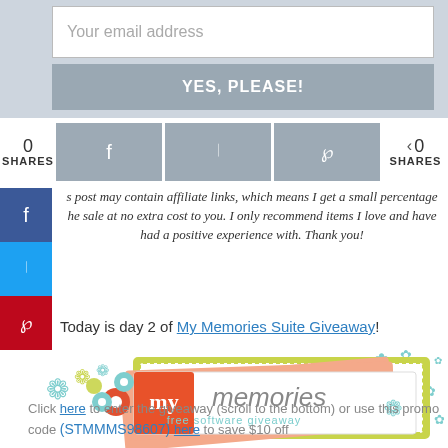[Figure (screenshot): Email input field with placeholder text 'Your email address' and a gray 'YES, PLEASE!' submit button below it]
[Figure (screenshot): Social share bar with Facebook, Twitter, Pinterest buttons and share counts showing 0 SHARES]
[Figure (screenshot): Side social sharing buttons: Facebook (blue), Twitter (light blue), Pinterest (red)]
This post may contain affiliate links, which means I get a small percentage of the sale at no extra cost to you. I only recommend items I love and have had a positive experience with. Thank you!
Today is day 2 of My Memories Suite Giveaway!
[Figure (logo): My Memories free software giveaway banner with flower decorations in teal, red, orange, and green]
Click here to enter the giveaway (scroll to the bottom) or use this promo code (STMMMS98607) here to save $10 off